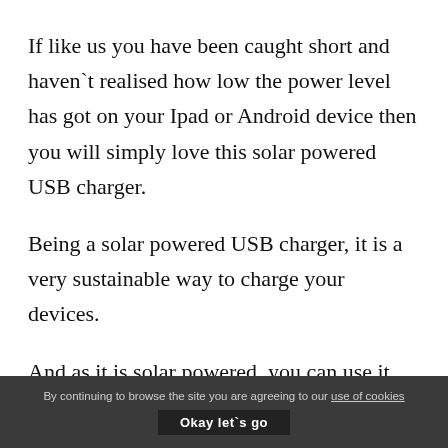If like us you have been caught short and haven`t realised how low the power level has got on your Ipad or Android device then you will simply love this solar powered USB charger.
Being a solar powered USB charger, it is a very sustainable way to charge your devices.
And as it is solar powered, you can use it anywhere in the world so no messing around with different electrical plug adapters depending on which country you are travelling to.
By continuing to browse the site you are agreeing to our use of cookies  Okay let`s go